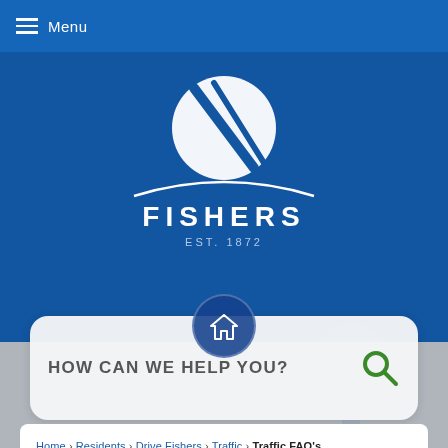Menu
[Figure (logo): Fishers city logo — circular emblem with crossed arc lines and swoosh, text FISHERS EST. 1872 below]
[Figure (other): Home icon inside a dark blue circle button]
HOW CAN WE HELP YOU?
Home › Residents › Drive Fishers › Traffic › Traffic FAQ's